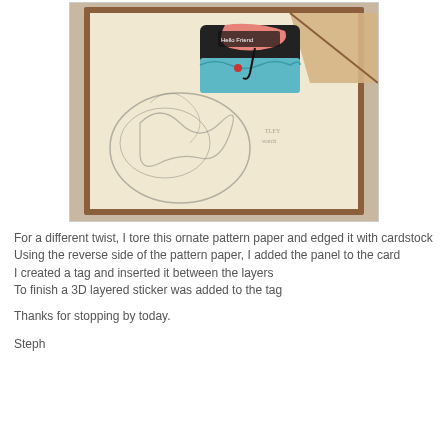[Figure (photo): A handmade greeting card featuring ornate pattern paper with a decorative swirl design, edged with brown cardstock, and a 3D layered sticker of a scene with 'Hello Friend' text, pink and black umbrella design, placed on a tag inserted between the layers. The card is photographed on a wooden surface.]
For a different twist, I tore this ornate pattern paper and edged it with cardstock
Using the reverse side of the pattern paper, I added the panel to the card
I created a tag and inserted it between the layers
To finish a 3D layered sticker was added to the tag
Thanks for stopping by today.
Steph